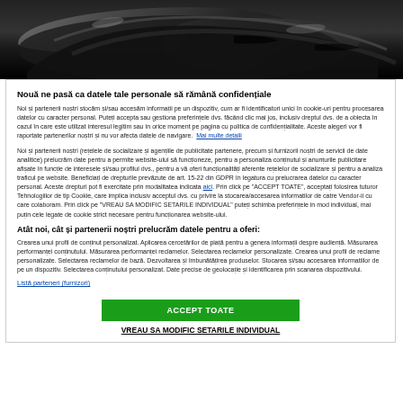[Figure (photo): Dark car fender/bumper part shown against black background]
Nouă ne pasă ca datele tale personale să rămână confidențiale
Noi și partenerii noștri stocăm și/sau accesăm informații pe un dispozitiv, cum ar fi identificatori unici în cookie-uri pentru procesarea datelor cu caracter personal. Puteți accepta sau gestiona preferințele dvs. făcând clic mai jos, inclusiv dreptul dvs. de a obiecta în cazul în care este utilizat interesul legitim sau în orice moment pe pagina cu politica de confidențialitate. Aceste alegeri vor fi raportate partenerilor noștri și nu vor afecta datele de navigare. Mai multe detalii
Noi și partenerii noștri (rețelele de socializare și agențiile de publicitate partenere, precum și furnizorii noștri de servicii de date analitice) prelucrăm date pentru a permite website-ului să funcționeze, pentru a personaliza conținutul și anunțurile publicitare afișate în funcție de interesele și/sau profilul dvs., pentru a vă oferi funcționalități aferente rețelelor de socializare și pentru a analiza traficul pe website. Beneficiați de drepturile prevăzute de art. 15-22 din GDPR în legatura cu prelucrarea datelor cu caracter personal. Aceste drepturi pot fi exercitate prin modalitatea indicata aici. Prin click pe "ACCEPT TOATE", acceptați folosirea tuturor Tehnologiilor de tip Cookie, care implica inclusiv acceptul dvs. cu privire la stocarea/accesarea informatilor de catre Vendor-ii cu care colaboram. Prin click pe "VREAU SA MODIFIC SETARILE INDIVIDUAL" puteți schimba preferințele in mod individual, mai puțin cele legate de cookie strict necesare pentru funcționarea website-ului.
Atât noi, cât și partenerii noștri prelucrăm datele pentru a oferi:
Crearea unui profil de conținut personalizat. Aplicarea cercetărilor de piață pentru a genera informații despre audiență. Măsurarea performanței conținutului. Măsurarea performanței reclamelor. Selectarea reclamelor personalizate. Crearea unui profil de reclame personalizate. Selectarea reclamelor de bază. Dezvoltarea și îmbunătățirea produselor. Stocarea și/sau accesarea informatiilor de pe un dispozitiv. Selectarea conținutului personalizat. Date precise de geolocație și identificarea prin scanarea dispozitivului.
Listă parteneri (furnizori)
ACCEPT TOATE
VREAU SA MODIFIC SETARILE INDIVIDUAL